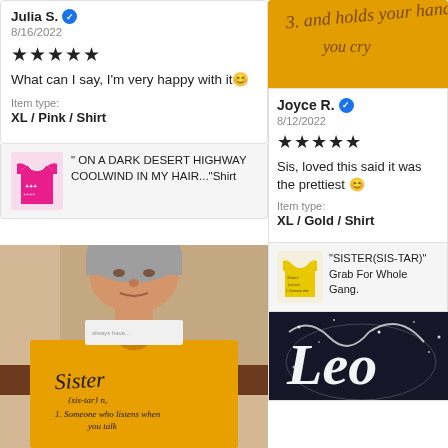Julia S. ✔
8/16/2022
★★★★★
What can I say, I'm very happy with it😊
Item type: XL / Pink / Shirt
[Figure (photo): Pink t-shirt product thumbnail]
" ON A DARK DESERT HIGHWAY COOLWIND IN MY HAIR..."Shirt
[Figure (photo): Person wearing yellow Sister definition t-shirt]
[Figure (photo): Gold/mustard shirt with text partially visible]
Joyce R. ✔
8/12/2022
★★★★★
Sis, loved this said it was the prettiest 😊
Item type: XL / Gold / Shirt
[Figure (photo): Yellow Sister shirt product thumbnail]
"SISTER(SIS-TAR)" Grab For Whole Gang.
[Figure (photo): Dark navy shirt with Leo zodiac sign text in white]